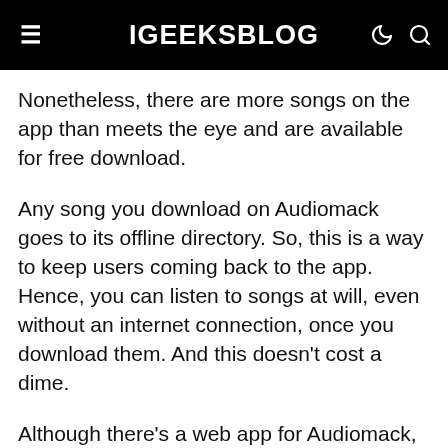iGEEKSBLOG
Nonetheless, there are more songs on the app than meets the eye and are available for free download.
Any song you download on Audiomack goes to its offline directory. So, this is a way to keep users coming back to the app. Hence, you can listen to songs at will, even without an internet connection, once you download them. And this doesn't cost a dime.
Although there's a web app for Audiomack, you'll need to install the mobile app to download music for free.